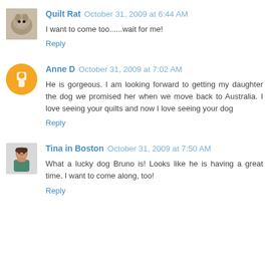Quilt Rat October 31, 2009 at 6:44 AM
I want to come too......wait for me!
Reply
Anne D October 31, 2009 at 7:02 AM
He is gorgeous. I am looking forward to getting my daughter the dog we promised her when we move back to Australia. I love seeing your quilts and now I love seeing your dog
Reply
Tina in Boston October 31, 2009 at 7:50 AM
What a lucky dog Bruno is! Looks like he is having a great time. I want to come along, too!
Reply